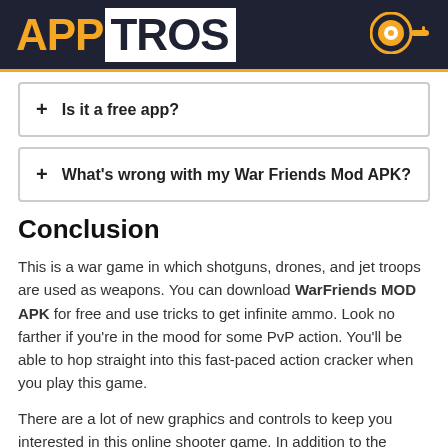APPTROS
+ Is it a free app?
+ What's wrong with my War Friends Mod APK?
Conclusion
This is a war game in which shotguns, drones, and jet troops are used as weapons. You can download WarFriends MOD APK for free and use tricks to get infinite ammo. Look no farther if you're in the mood for some PvP action. You'll be able to hop straight into this fast-paced action cracker when you play this game.
There are a lot of new graphics and controls to keep you interested in this online shooter game. In addition to the